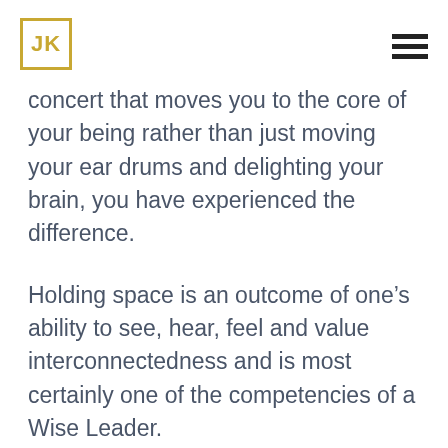JK
concert that moves you to the core of your being rather than just moving your ear drums and delighting your brain, you have experienced the difference.
Holding space is an outcome of one’s ability to see, hear, feel and value interconnectedness and is most certainly one of the competencies of a Wise Leader.
I’d love to hear your thoughts about and/or experience with holding space. Have you experienced it? Do you want to learn how to do it? Do you weep at the lack of it? Do you see how